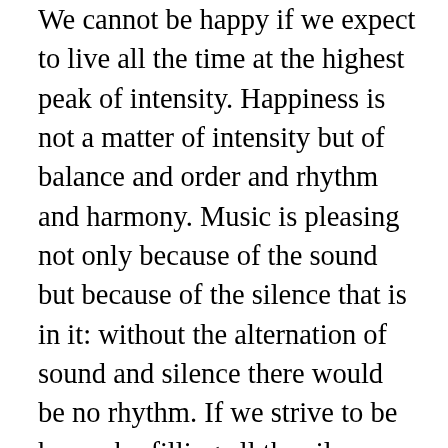We cannot be happy if we expect to live all the time at the highest peak of intensity. Happiness is not a matter of intensity but of balance and order and rhythm and harmony. Music is pleasing not only because of the sound but because of the silence that is in it: without the alternation of sound and silence there would be no rhythm. If we strive to be happy by filling all the silences of life with sound, productive by turning all life's leisure into work, and real by turning all our being into doing, we will only succeed in producing a hell on earth. If we have no silence, God is